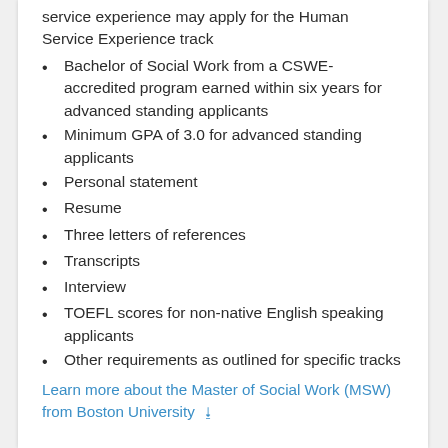service experience may apply for the Human Service Experience track
Bachelor of Social Work from a CSWE-accredited program earned within six years for advanced standing applicants
Minimum GPA of 3.0 for advanced standing applicants
Personal statement
Resume
Three letters of references
Transcripts
Interview
TOEFL scores for non-native English speaking applicants
Other requirements as outlined for specific tracks
Learn more about the Master of Social Work (MSW) from Boston University